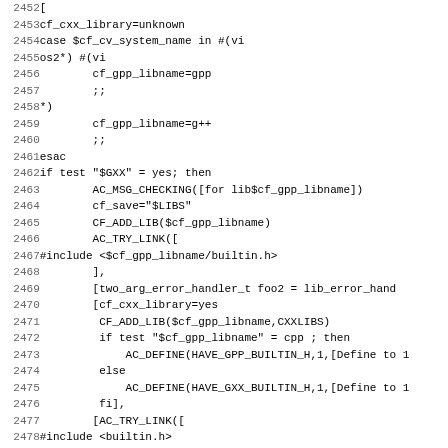Source code listing lines 2452-2483, shell/autoconf script with C++ library detection logic